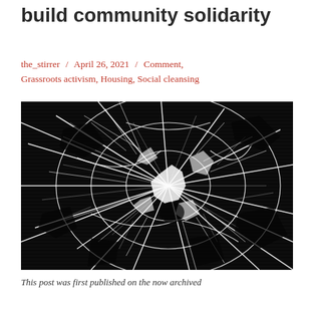build community solidarity
the_stirrer / April 26, 2021 / Comment, Grassroots activism, Housing, Social cleansing
[Figure (photo): High contrast black and white image showing shattered glass with a spiderweb crack pattern, with white fracture lines against a dark background]
This post was first published on the now archived